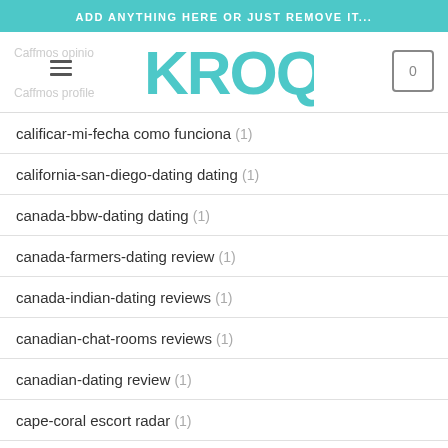ADD ANYTHING HERE OR JUST REMOVE IT...
[Figure (logo): KROQ logo in teal/turquoise color]
calificar-mi-fecha como funciona (1)
california-san-diego-dating dating (1)
canada-bbw-dating dating (1)
canada-farmers-dating review (1)
canada-indian-dating reviews (1)
canadian-chat-rooms reviews (1)
canadian-dating review (1)
cape-coral escort radar (1)
cardiff sugar dating (1)